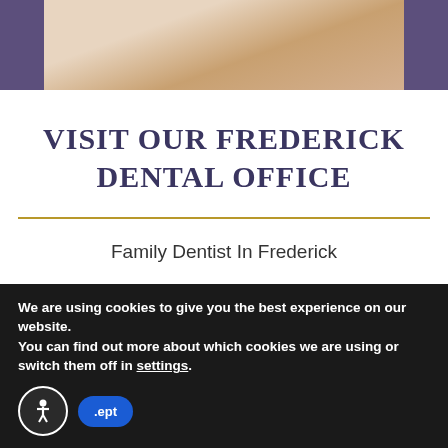[Figure (photo): Top banner photo of a person in white clothing, partial view, with purple side borders]
VISIT OUR FREDERICK DENTAL OFFICE
Family Dentist In Frederick
Our Address
161 Thomas Johnson Drive
We are using cookies to give you the best experience on our website.
You can find out more about which cookies we are using or switch them off in settings.